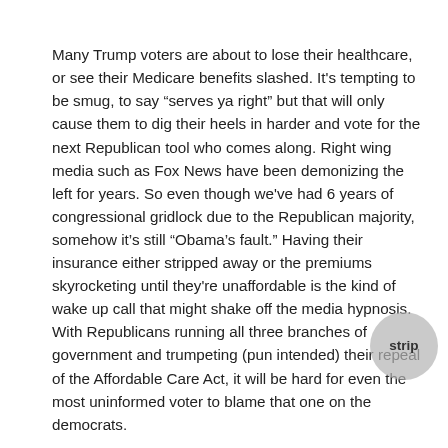Many Trump voters are about to lose their healthcare, or see their Medicare benefits slashed. It's tempting to be smug, to say “serves ya right” but that will only cause them to dig their heels in harder and vote for the next Republican tool who comes along. Right wing media such as Fox News have been demonizing the left for years. So even though we've had 6 years of congressional gridlock due to the Republican majority, somehow it’s still “Obama’s fault.” Having their insurance either stripped away or the premiums skyrocketing until they're unaffordable is the kind of wake up call that might shake off the media hypnosis. With Republicans running all three branches of government and trumpeting (pun intended) their repeal of the Affordable Care Act, it will be hard for even the most uninformed voter to blame that one on the democrats.
There will be other opportunities as well. As Republicans strip Medicare, Social Security and every other part of the social safety nets they can dismantle, more and more people will